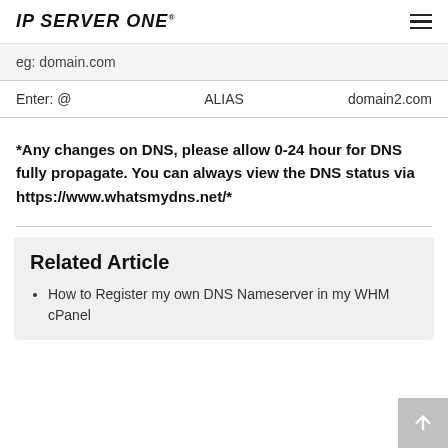IP SERVER ONE®
eg: domain.com
| Enter: @ | ALIAS | domain2.com |
| --- | --- | --- |
*Any changes on DNS, please allow 0-24 hour for DNS fully propagate. You can always view the DNS status via https://www.whatsmydns.net/*
Related Article
How to Register my own DNS Nameserver in my WHM cPanel